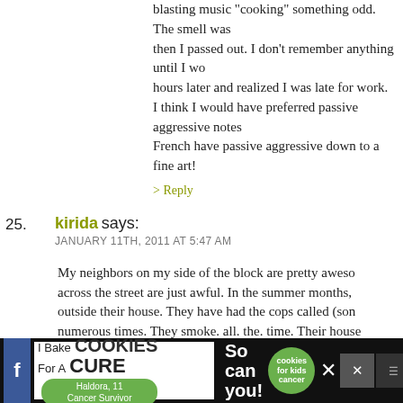blasting music "cooking" something odd. The smell was then I passed out. I don't remember anything until I wo hours later and realized I was late for work. I think I would have preferred passive aggressive notes French have passive aggressive down to a fine art!
> Reply
25. kirida says: JANUARY 11TH, 2011 AT 5:47 AM
My neighbors on my side of the block are pretty aweso across the street are just awful. In the summer months, outside their house. They have had the cops called (son numerous times. They smoke. all. the. time. Their house There’s a motorized wheelchair on their porch but it’s b through the seasons.
Another terrible neighbor story! When we lived in an a complex, the neighbor below us complained to the man she said that we were singing too loudly to our baby. Th
[Figure (screenshot): Advertisement banner at the bottom of the page: 'I Bake COOKIES For A CURE' with 'So can you!' text, a green cookies logo, a dismiss button, and social share buttons on a dark background.]